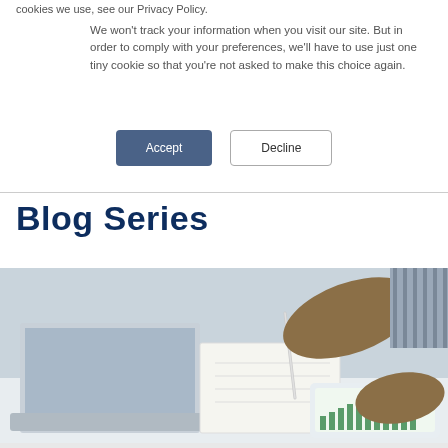cookies we use, see our Privacy Policy.
We won't track your information when you visit our site. But in order to comply with your preferences, we'll have to use just one tiny cookie so that you're not asked to make this choice again.
[Figure (screenshot): Two buttons: Accept (filled dark blue-grey) and Decline (outlined)]
Blog Series
[Figure (photo): Person sitting at desk writing in notebook next to laptop, also touching a tablet showing a green bar chart]